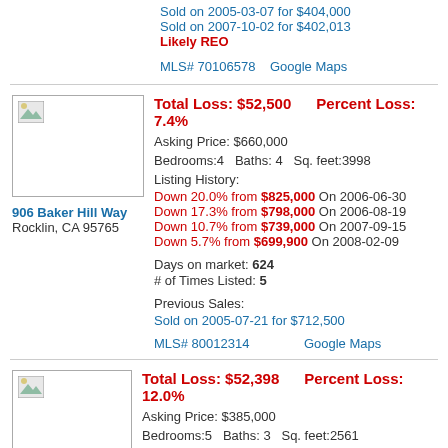Sold on 2005-03-07 for $404,000
Sold on 2007-10-02 for $402,013
Likely REO
MLS# 70106578    Google Maps
Total Loss: $52,500    Percent Loss: 7.4%
Asking Price: $660,000
Bedrooms:4    Baths: 4    Sq. feet:3998
Listing History:
Down 20.0% from $825,000 On 2006-06-30
Down 17.3% from $798,000 On 2006-08-19
Down 10.7% from $739,000 On 2007-09-15
Down 5.7% from $699,900 On 2008-02-09
Days on market: 624
# of Times Listed: 5
Previous Sales:
Sold on 2005-07-21 for $712,500
MLS# 80012314    Google Maps
906 Baker Hill Way
Rocklin, CA 95765
Total Loss: $52,398    Percent Loss: 12.0%
Asking Price: $385,000
Bedrooms:5    Baths: 3    Sq. feet:2561
Listing History: